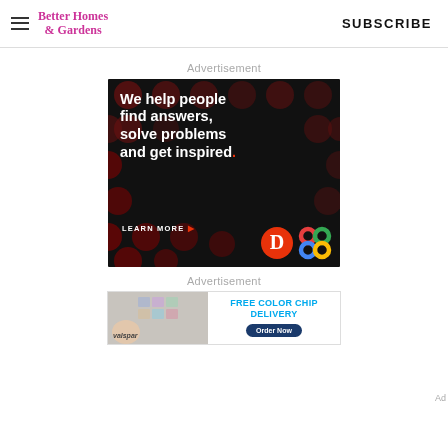Better Homes & Gardens | SUBSCRIBE
Advertisement
[Figure (infographic): Dark background advertisement with red polka dot pattern. Large white bold text reads: 'We help people find answers, solve problems and get inspired.' with a red period. Bottom left says 'LEARN MORE' with red arrow. Bottom right shows Dotdash and Meredith logos.]
Advertisement
[Figure (infographic): Valspar advertisement showing paint color chips and a hand. Text reads 'FREE COLOR CHIP DELIVERY' in cyan/teal with 'Order Now' button on dark blue background.]